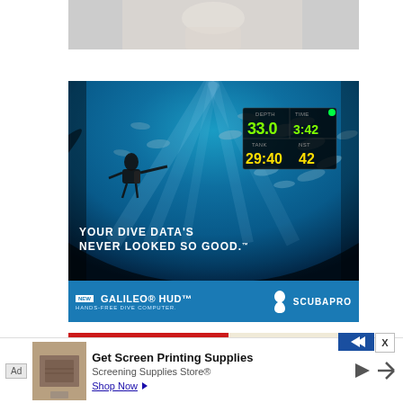[Figure (photo): Partial view of a person in light clothing, cropped to show lower body against white background]
[Figure (illustration): ScubaPro Galileo HUD advertisement showing an underwater scene viewed through a diving mask, with a diver silhouette surrounded by fish, HUD display showing depth 33.0, time 3:42, tank 29:40, NST 42. Tagline: YOUR DIVE DATA'S NEVER LOOKED SO GOOD. NEW GALILEO HUD HANDS-FREE DIVE COMPUTER. SCUBAPRO logo.]
[Figure (illustration): Bontrager advertisement banner showing the BONTRAGER brand name in white italic bold text on a red background, with a light tan/cream right side]
[Figure (screenshot): Bottom browser advertisement bar: Ad label, thumbnail of screen printing image, headline Get Screen Printing Supplies, body text Screening Supplies Store®, Shop Now button with arrow]